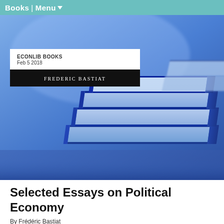Books | Menu
[Figure (photo): Stack of blue-tinted books photographed from the side, blurred background, blue color palette]
ECONLIB BOOKS
Feb 5 2018
FREDERIC BASTIAT
Selected Essays on Political Economy
By Frédéric Bastiat